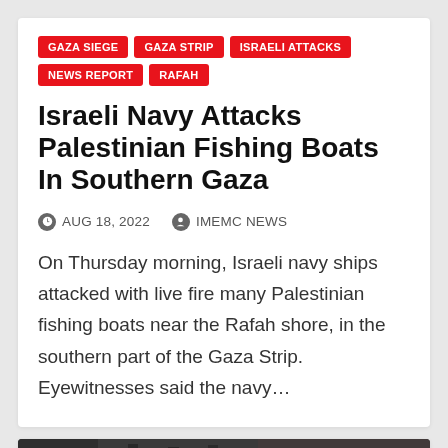GAZA SIEGE
GAZA STRIP
ISRAELI ATTACKS
NEWS REPORT
RAFAH
Israeli Navy Attacks Palestinian Fishing Boats In Southern Gaza
AUG 18, 2022
IMEMC NEWS
On Thursday morning, Israeli navy ships attacked with live fire many Palestinian fishing boats near the Rafah shore, in the southern part of the Gaza Strip. Eyewitnesses said the navy…
[Figure (photo): Dark photograph partially visible at bottom of page, appears to show an outdoor scene]